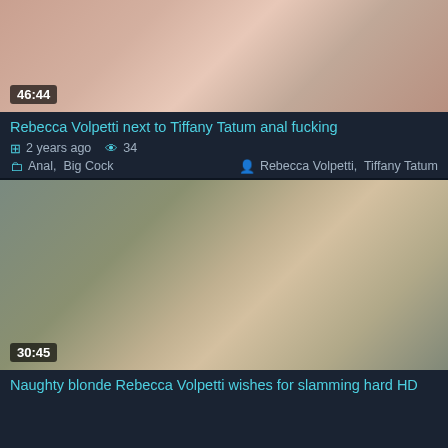[Figure (photo): Video thumbnail showing adult content, duration 46:44]
Rebecca Volpetti next to Tiffany Tatum anal fucking
2 years ago   34
Anal, Big Cock   Rebecca Volpetti, Tiffany Tatum
[Figure (photo): Video thumbnail showing adult content, duration 30:45]
Naughty blonde Rebecca Volpetti wishes for slamming hard HD